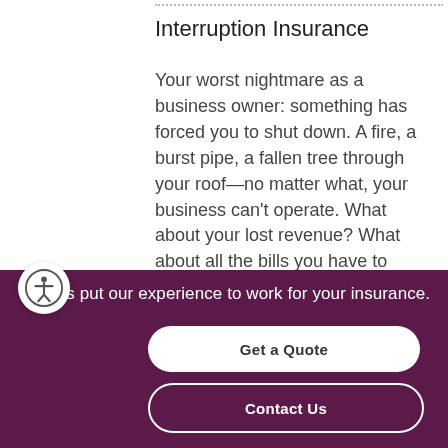Interruption Insurance
Your worst nightmare as a business owner: something has forced you to shut down. A fire, a burst pipe, a fallen tree through your roof—no matter what, your business can't operate. What about your lost revenue? What about all the bills you have to pay? Who will pay your employees? That's where business interruption insurance
Let us put our experience to work for your insurance.
Get a Quote
Contact Us